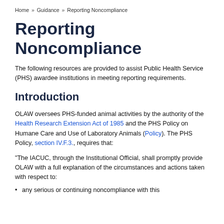Home » Guidance » Reporting Noncompliance
Reporting Noncompliance
The following resources are provided to assist Public Health Service (PHS) awardee institutions in meeting reporting requirements.
Introduction
OLAW oversees PHS-funded animal activities by the authority of the Health Research Extension Act of 1985 and the PHS Policy on Humane Care and Use of Laboratory Animals (Policy). The PHS Policy, section IV.F.3., requires that:
"The IACUC, through the Institutional Official, shall promptly provide OLAW with a full explanation of the circumstances and actions taken with respect to:
any serious or continuing noncompliance with this